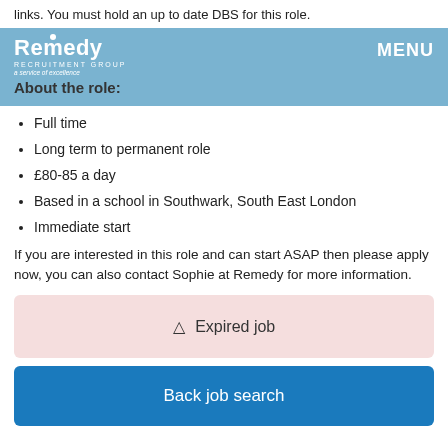links. You must hold an up to date DBS for this role.
Remedy Recruitment Group — MENU
About the role:
Full time
Long term to permanent role
£80-85 a day
Based in a school in Southwark, South East London
Immediate start
If you are interested in this role and can start ASAP then please apply now, you can also contact Sophie at Remedy for more information.
⚠ Expired job
Back job search